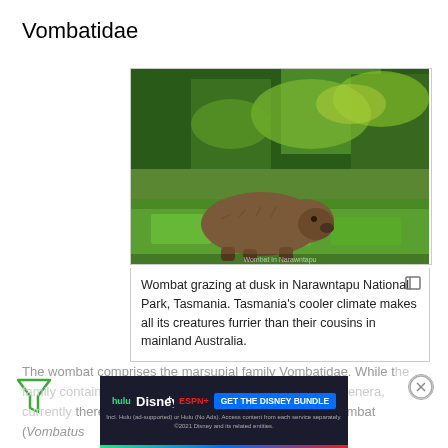Vombatidae
[Figure (photo): Wombat grazing on green grass near bushes in Narawntapu National Park, Tasmania, photographed at dusk.]
Wombat grazing at dusk in Narawntapu National Park, Tasmania. Tasmania's cooler climate makes all its creatures furrier than their cousins in mainland Australia.
The wombat comprises the marsupial family Vombatidae. While t... ies, placed ... there are three extant species: the common wombat (Vombatus...
[Figure (other): Disney Bundle advertisement banner showing Hulu, Disney+, ESPN+ logos with 'GET THE DISNEY BUNDLE' button. Fine print: Incl. Hulu (ad-supported) or Hulu (No Ads). Access content from each service separately. ©2021 Disney and its related entities.]